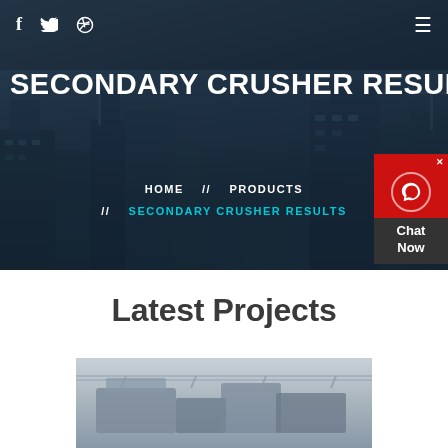[Figure (screenshot): Hero banner with construction/city background showing tall buildings and cranes in a dark blue overlay]
SECONDARY CRUSHER RESULTS
HOME // PRODUCTS // SECONDARY CRUSHER RESULTS
[Figure (screenshot): Live chat widget with red background, headset icon, and 'Chat Now' label]
Latest Projects
[Figure (photo): Industrial crusher machinery photo showing heavy equipment in a facility]